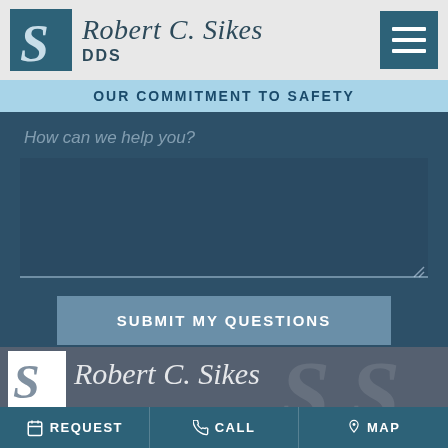[Figure (logo): Robert C. Sikes DDS logo with stylized S icon in teal box, name in serif italic, and hamburger menu icon]
OUR COMMITMENT TO SAFETY
How can we help you?
SUBMIT MY QUESTIONS
[Figure (logo): Robert C. Sikes footer logo with white box S icon and name in italic serif on dark background]
REQUEST   CALL   MAP